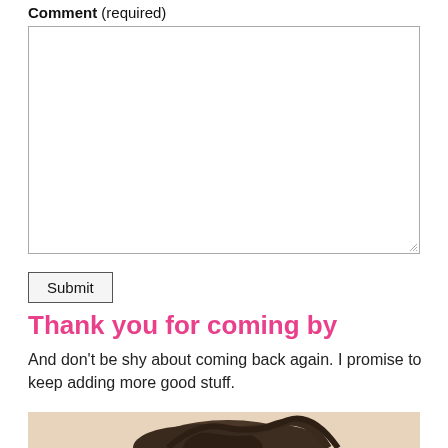Comment (required)
[Figure (screenshot): A large empty textarea input box for entering a comment]
Submit
Thank you for coming by
And don't be shy about coming back again. I promise to keep adding more good stuff.
[Figure (photo): Partial photo showing a person with dark curly hair against a light peach/tan background]